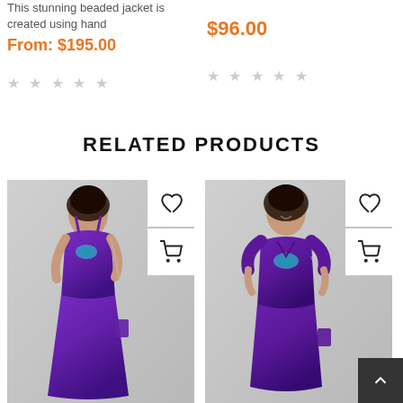This stunning beaded jacket is created using hand
From: $195.00
★★★★★ (0 ratings)
$96.00
★★★★★ (0 ratings)
RELATED PRODUCTS
[Figure (photo): Woman wearing purple floral maxi dress with spaghetti straps, full length, with action buttons (heart/wishlist and cart)]
[Figure (photo): Woman wearing purple floral short-sleeve midi dress, with action buttons (heart/wishlist and cart)]